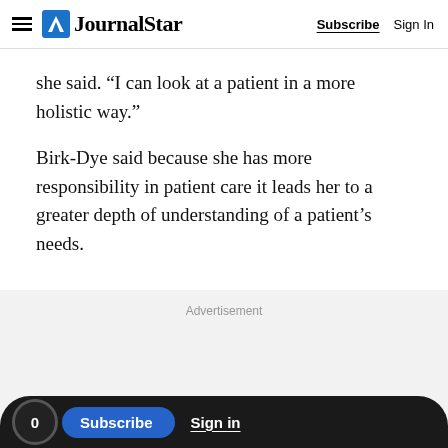Journal Star | Subscribe | Sign In
she said. “I can look at a patient in a more holistic way.”
Birk-Dye said because she has more responsibility in patient care it leads her to a greater depth of understanding of a patient’s needs.
Advertisement
0  Subscribe  Sign in